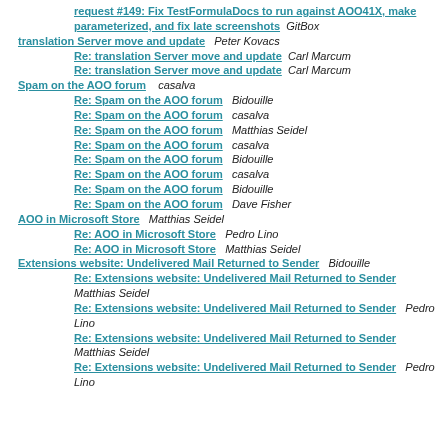request #149: Fix TestFormulaDocs to run against AOO41X, make parameterized, and fix late screenshots  GitBox
translation Server move and update  Peter Kovacs
Re: translation Server move and update  Carl Marcum
Re: translation Server move and update  Carl Marcum
Spam on the AOO forum  casalva
Re: Spam on the AOO forum  Bidouille
Re: Spam on the AOO forum  casalva
Re: Spam on the AOO forum  Matthias Seidel
Re: Spam on the AOO forum  casalva
Re: Spam on the AOO forum  Bidouille
Re: Spam on the AOO forum  casalva
Re: Spam on the AOO forum  Bidouille
Re: Spam on the AOO forum  Dave Fisher
AOO in Microsoft Store  Matthias Seidel
Re: AOO in Microsoft Store  Pedro Lino
Re: AOO in Microsoft Store  Matthias Seidel
Extensions website: Undelivered Mail Returned to Sender  Bidouille
Re: Extensions website: Undelivered Mail Returned to Sender  Matthias Seidel
Re: Extensions website: Undelivered Mail Returned to Sender  Pedro Lino
Re: Extensions website: Undelivered Mail Returned to Sender  Matthias Seidel
Re: Extensions website: Undelivered Mail Returned to Sender  Pedro Lino